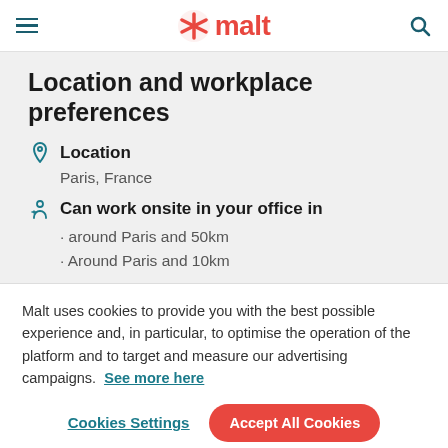malt
Location and workplace preferences
Location
Paris, France
Can work onsite in your office in
· around Paris and 50km
· Around Paris and 10km
Malt uses cookies to provide you with the best possible experience and, in particular, to optimise the operation of the platform and to target and measure our advertising campaigns.  See more here
Cookies Settings
Accept All Cookies